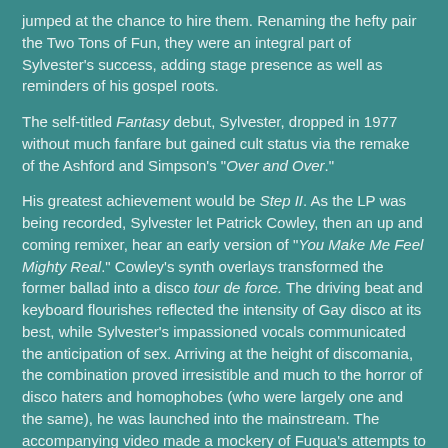jumped at the chance to hire them. Renaming the hefty pair the Two Tons of Fun, they were an integral part of Sylvester's success, adding stage presence as well as reminders of his gospel roots.
The self-titled Fantasy debut, Sylvester, dropped in 1977 without much fanfare but gained cult status via the remake of the Ashford and Simpson's "Over and Over."
His greatest achievement would be Step II. As the LP was being recorded, Sylvester let Patrick Cowley, then an up and coming remixer, hear an early version of "You Make Me Feel Mighty Real." Cowley's synth overlays transformed the former ballad into a disco tour de force. The driving beat and keyboard flourishes reflected the intensity of Gay disco at its best, while Sylvester's impassioned vocals communicated the anticipation of sex. Arriving at the height of discomania, the combination proved irresistible and much to the horror of disco haters and homophobes (who were largely one and the same), he was launched into the mainstream. The accompanying video made a mockery of Fuqua's attempts to tone down his flamboyance, as Sylvester strolled around a disco in full drag.
"Mighty Real" won several Billboard disco awards, establishing Sylvester in disco's pantheon. The other single from the album, "Dance (Disco Heat)," featured the Tons on lead vocals and their pure gospel was so spirited, so powerful that all Sylvester could do was